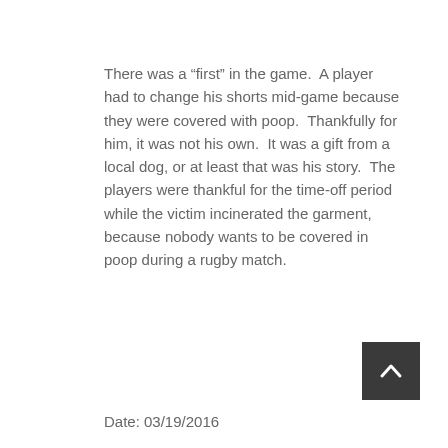There was a “first” in the game.  A player had to change his shorts mid-game because they were covered with poop.  Thankfully for him, it was not his own.  It was a gift from a local dog, or at least that was his story.  The players were thankful for the time-off period while the victim incinerated the garment, because nobody wants to be covered in poop during a rugby match.
Date: 03/19/2016